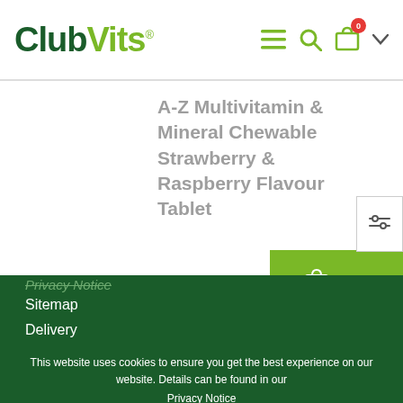ClubVits® — navigation header with logo, hamburger menu, search, cart (0), dropdown
A-Z Multivitamin & Mineral Chewable Strawberry & Raspberry Flavour Tablet
[Figure (screenshot): ADD TO CART button (green) with shopping bag icon]
[Figure (other): Filter/sliders icon in a white box]
Privacy Notice
Sitemap
Delivery
This website uses cookies to ensure you get the best experience on our website. Details can be found in our
Privacy Notice
Got it!